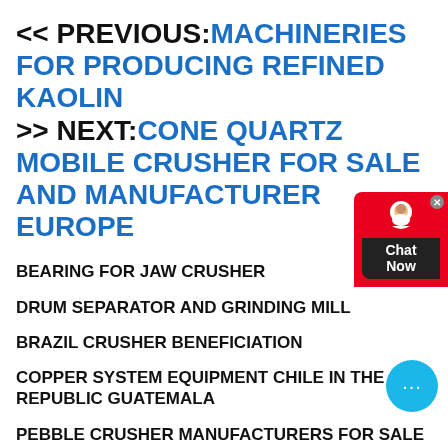<< PREVIOUS: MACHINERIES FOR PRODUCING REFINED KAOLIN >> NEXT: CONE QUARTZ MOBILE CRUSHER FOR SALE AND MANUFACTURER EUROPE
BEARING FOR JAW CRUSHER
DRUM SEPARATOR AND GRINDING MILL
BRAZIL CRUSHER BENEFICIATION
COPPER SYSTEM EQUIPMENT CHILE IN THE REPUBLIC GUATEMALA
PEBBLE CRUSHER MANUFACTURERS FOR SALE
LIMESTONE HAMMER MILL COMPARE BALL MILL
DISTRIBUTORS OF PARKER JAW CRUSHER PARTS IN US
[Figure (other): Chat Now customer support widget with red background and chat bubble icon]
[Figure (other): Blue circular chat bubble with ellipsis dots]